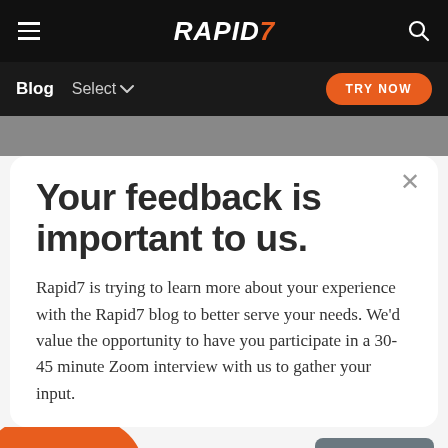RAPID7 — Blog | Select | TRY NOW
Your feedback is important to us.
Rapid7 is trying to learn more about your experience with the Rapid7 blog to better serve your needs. We'd value the opportunity to have you participate in a 30-45 minute Zoom interview with us to gather your input.
SIGN UP
Contact Us